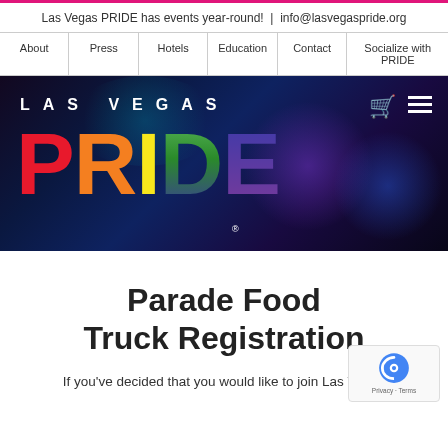Las Vegas PRIDE has events year-round!  |  info@lasvegaspride.org
About | Press | Hotels | Education | Contact | Socialize with PRIDE
[Figure (logo): Las Vegas PRIDE rainbow logo on dark background with LAS VEGAS text and PRIDE in rainbow gradient colors]
Parade Food Truck Registration
If you've decided that you would like to join Las Vegas...